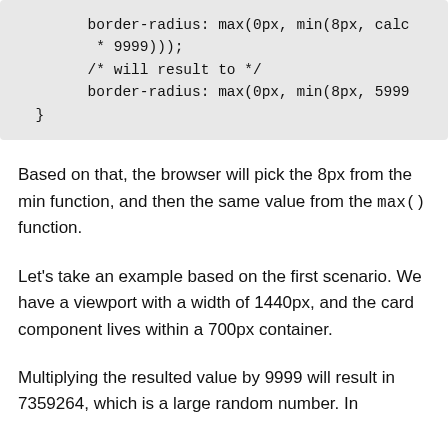[Figure (screenshot): Code block showing CSS border-radius with calc, min, max functions. Lines: 'border-radius: max(0px, min(8px, calc', '* 9999)));', '/* will result to */', 'border-radius: max(0px, min(8px, 5999', '}']
Based on that, the browser will pick the 8px from the min function, and then the same value from the max() function.
Let's take an example based on the first scenario. We have a viewport with a width of 1440px, and the card component lives within a 700px container.
Multiplying the resulted value by 9999 will result in 7359264, which is a large random number. In